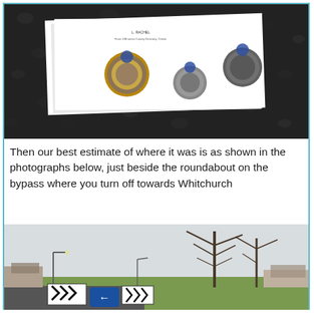[Figure (photo): Photo of three coins (a £2 coin, a 50p coin, and a smaller coin) placed on a white envelope/paper, resting on dark gravel ground.]
Then our best estimate of where it was is as shown in the photographs below, just beside the roundabout on the bypass where you turn off towards Whitchurch
[Figure (photo): Photo of a roundabout on a bypass road near Whitchurch, showing road signs with chevrons and a blue directional arrow, bare winter trees, houses and green grass in the background under a pale sky.]